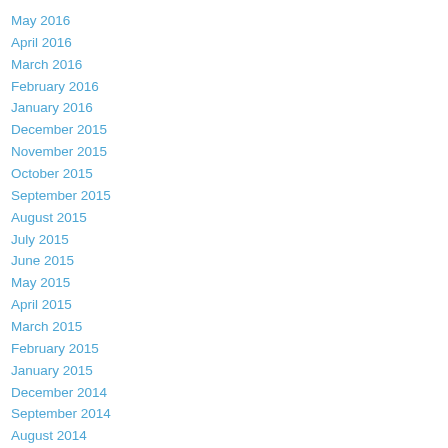May 2016
April 2016
March 2016
February 2016
January 2016
December 2015
November 2015
October 2015
September 2015
August 2015
July 2015
June 2015
May 2015
April 2015
March 2015
February 2015
January 2015
December 2014
September 2014
August 2014